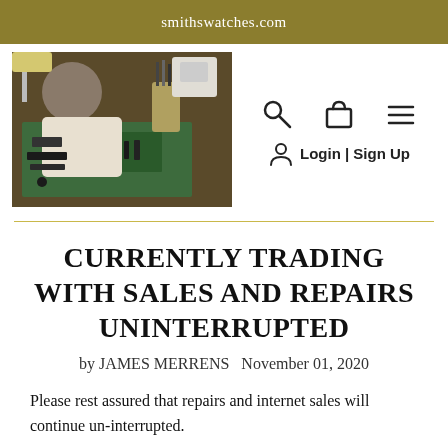smithswatches.com
[Figure (photo): A watchmaker working at a workbench with tools and watch parts on a green mat]
CURRENTLY TRADING WITH SALES AND REPAIRS UNINTERRUPTED
by JAMES MERRENS   November 01, 2020
Please rest assured that repairs and internet sales will continue un-interrupted.